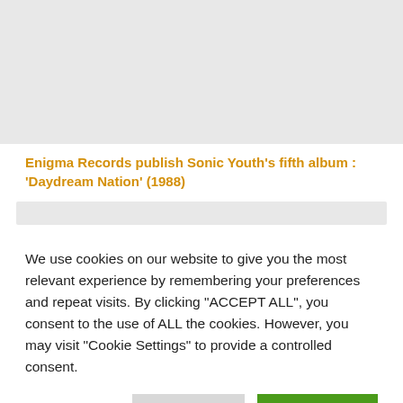[Figure (other): Gray placeholder image block at top of page]
Enigma Records publish Sonic Youth's fifth album : 'Daydream Nation' (1988)
[Figure (other): Gray placeholder image strip below title]
We use cookies on our website to give you the most relevant experience by remembering your preferences and repeat visits. By clicking "ACCEPT ALL", you consent to the use of ALL the cookies. However, you may visit "Cookie Settings" to provide a controlled consent.
Cookie Settings | REJECT ALL | ACCEPT ALL